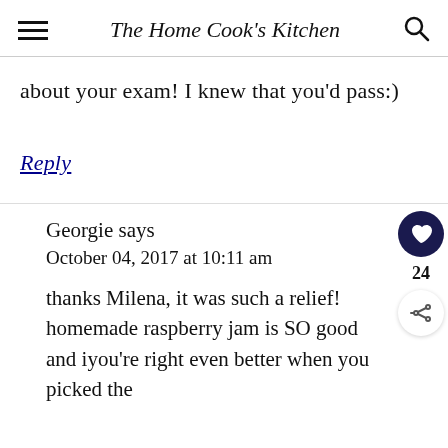The Home Cook's Kitchen
about your exam! I knew that you'd pass:)
Reply
Georgie says
October 04, 2017 at 10:11 am
thanks Milena, it was such a relief! homemade raspberry jam is SO good and iyou're right even better when you picked the